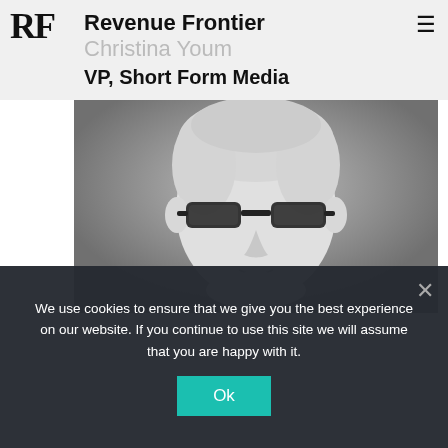RF | Revenue Frontier
Christina Youm
VP, Short Form Media
[Figure (photo): Black and white headshot photo of Christina Youm, a person with short light hair and thick black-rimmed glasses, photographed from roughly chin to top of head against a gray background.]
We use cookies to ensure that we give you the best experience on our website. If you continue to use this site we will assume that you are happy with it.